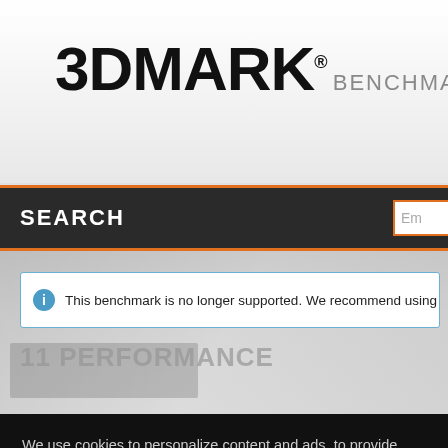[Figure (screenshot): 3DMARK logo with BENCHMARKS navigation header]
SEARCH  Em
This benchmark is no longer supported. We recommend using
11 PERFORMANCE
We use cookies to personalize content and ads, to provide social media features and to analyze our traffic. We also share information about your use of our site with our social media, advertising and analytics partners.